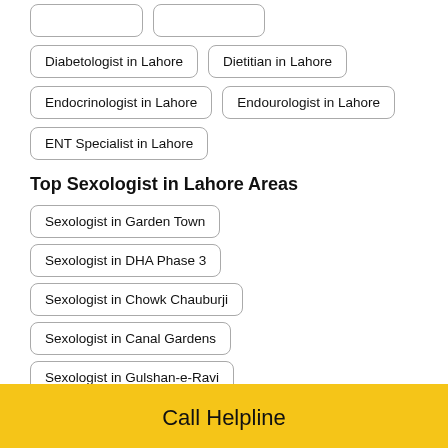Diabetologist in Lahore
Dietitian in Lahore
Endocrinologist in Lahore
Endourologist in Lahore
ENT Specialist in Lahore
Top Sexologist in Lahore Areas
Sexologist in Garden Town
Sexologist in DHA Phase 3
Sexologist in Chowk Chauburji
Sexologist in Canal Gardens
Sexologist in Gulshan-e-Ravi
Call Helpline